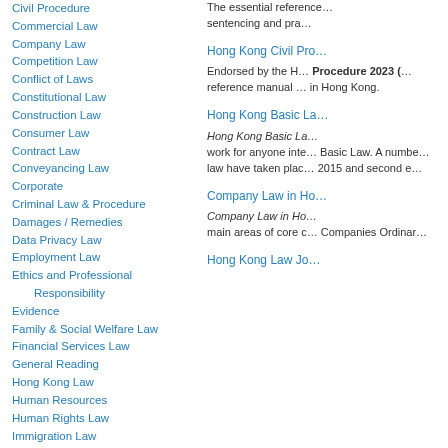Civil Procedure
Commercial Law
Company Law
Competition Law
Conflict of Laws
Constitutional Law
Construction Law
Consumer Law
Contract Law
Conveyancing Law
Corporate
Criminal Law & Procedure
Damages / Remedies
Data Privacy Law
Employment Law
Ethics and Professional Responsibility
Evidence
Family & Social Welfare Law
Financial Services Law
General Reading
Hong Kong Law
Human Resources
Human Rights Law
Immigration Law
Information Technology Law
The essential reference... sentencing and pra...
Hong Kong Civil Pro...
Endorsed by the H... Procedure 2023 (... reference manual ... in Hong Kong.
Hong Kong Basic La...
Hong Kong Basic La... work for anyone inte... Basic Law. A numbe... law have taken plac... 2015 and second e...
Company Law in Ho...
Company Law in Ho... main areas of core c... Companies Ordinar...
Hong Kong Law Jo...